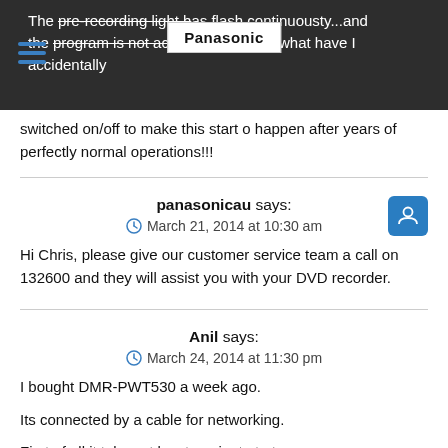The pre-recording light has flash continuousty...and the program is not actually recording. what have I accidentally switched on/off to make this start o happen after years of perfectly normal operations!!!
Hi Chris, please give our customer service team a call on 132600 and they will assist you with your DVD recorder.
I bought DMR-PWT530 a week ago.
Its connected by a cable for networking.
First of all it takes at least a minute to turn on.